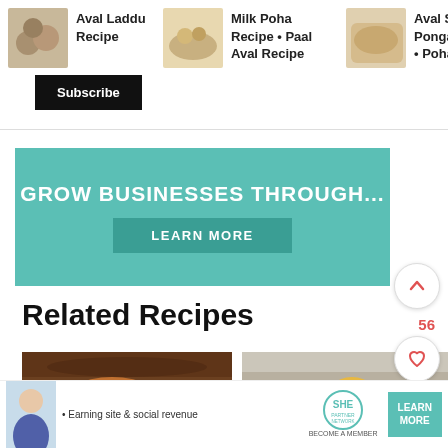[Figure (screenshot): Recipe thumbnail: Aval Laddu round balls]
Aval Laddu Recipe
[Figure (screenshot): Recipe thumbnail: Milk Poha in bowl]
Milk Poha Recipe • Paal Aval Recipe
[Figure (screenshot): Recipe thumbnail: Aval Sarkkarai Pongal]
Aval Sarkkarai Pongal Recipe • Poha Sw...
[Figure (infographic): Subscribe button overlay on dark background]
[Figure (infographic): Teal advertisement banner: GROW BUSINESSES THROUGH... with LEARN MORE button]
Related Recipes
[Figure (photo): Indian sweet dish in a dark metal bowl with nuts and syrup]
[Figure (photo): Yellow round laddu balls with nuts on a plate]
[Figure (infographic): Bottom advertisement strip: SHE Partner Network - Earning site & social revenue, LEARN MORE button]